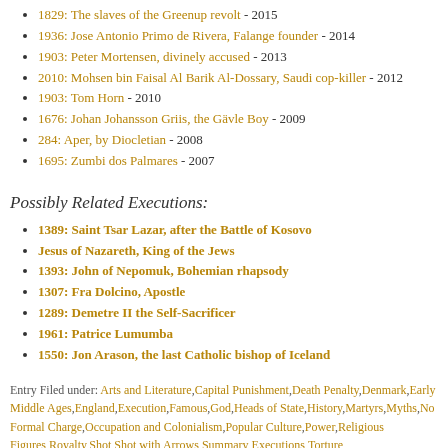1829: The slaves of the Greenup revolt - 2015
1936: Jose Antonio Primo de Rivera, Falange founder - 2014
1903: Peter Mortensen, divinely accused - 2013
2010: Mohsen bin Faisal Al Barik Al-Dossary, Saudi cop-killer - 2012
1903: Tom Horn - 2010
1676: Johan Johansson Griis, the Gävle Boy - 2009
284: Aper, by Diocletian - 2008
1695: Zumbi dos Palmares - 2007
Possibly Related Executions:
1389: Saint Tsar Lazar, after the Battle of Kosovo
Jesus of Nazareth, King of the Jews
1393: John of Nepomuk, Bohemian rhapsody
1307: Fra Dolcino, Apostle
1289: Demetre II the Self-Sacrificer
1961: Patrice Lumumba
1550: Jon Arason, the last Catholic bishop of Iceland
Entry Filed under: Arts and Literature, Capital Punishment, Death Penalty, Denmark, Early Middle Ages, England, Execution, Famous, God, Heads of State, History, Martyrs, Myths, No Formal Charge, Occupation and Colonialism, Popular Culture, Power, Religious Figures, Royalty, Shot, Shot with Arrows, Summary Executions, Torture
Tags: 869, 870, bury st. edmunds, november 20, ragnar lodbrok, st. edmund, st. george
1327: Adso's lover in The Name of the Rose
5 comments | December 1st, 2010 | Headsman